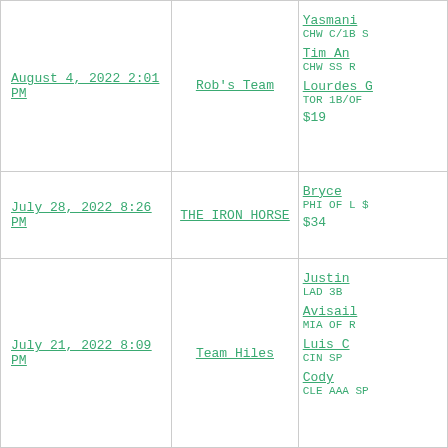| Date | Team | Details |
| --- | --- | --- |
| August 4, 2022 2:01 PM | Rob's Team | Yasmani... CHW C/1B S | Tim An... CHW SS R | Lourdes G... TOR 1B/OF | $19 |
| July 28, 2022 8:26 PM | THE IRON HORSE | Bryce... PHI OF L $ | $34 |
| July 21, 2022 8:09 PM | Team Hiles | Justin... LAD 3B | Avisail... MIA OF R | Luis C... CIN SP | Cody... CLE AAA SP |